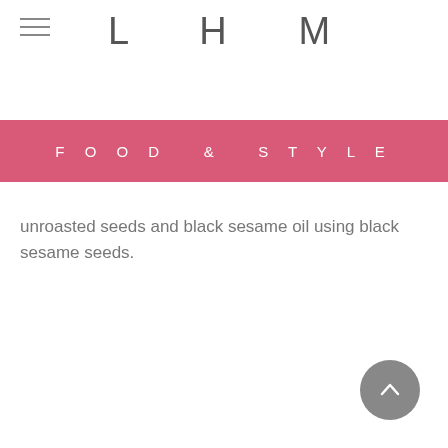L H M
small quantities under expert care, hoping to present locally-grown items in the future. Currently, Queens Bucket has two
FOOD & STYLE
unroasted seeds and black sesame oil using black sesame seeds.